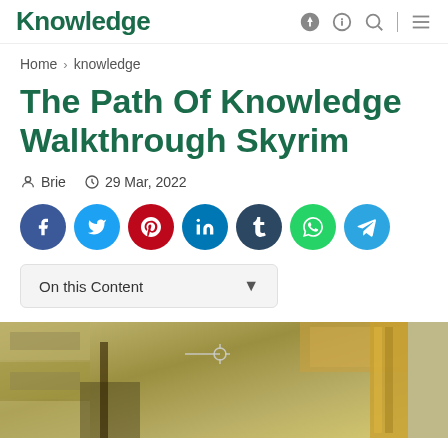Knowledge
Home › knowledge
The Path Of Knowledge Walkthrough Skyrim
Brie  29 Mar, 2022
[Figure (infographic): Social share buttons: Facebook, Twitter, Pinterest, LinkedIn, Tumblr, WhatsApp, Telegram]
On this Content
[Figure (screenshot): Screenshot from Skyrim game showing stone/gold environment with crosshair UI element]